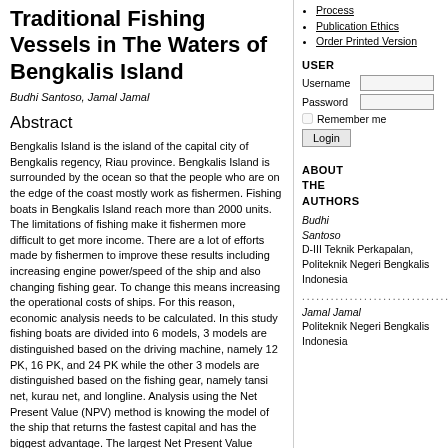Traditional Fishing Vessels in The Waters of Bengkalis Island
Budhi Santoso, Jamal Jamal
Abstract
Bengkalis Island is the island of the capital city of Bengkalis regency, Riau province. Bengkalis Island is surrounded by the ocean so that the people who are on the edge of the coast mostly work as fishermen. Fishing boats in Bengkalis Island reach more than 2000 units. The limitations of fishing make it fishermen more difficult to get more income. There are a lot of efforts made by fishermen to improve these results including increasing engine power/speed of the ship and also changing fishing gear. To change this means increasing the operational costs of ships. For this reason, economic analysis needs to be calculated. In this study fishing boats are divided into 6 models, 3 models are distinguished based on the driving machine, namely 12 PK, 16 PK, and 24 PK while the other 3 models are distinguished based on the fishing gear, namely tansi net, kurau net, and longline. Analysis using the Net Present Value (NPV) method is knowing the model of the ship that returns the fastest capital and has the biggest advantage. The largest Net Present Value (NPV) is in Model 3 or 4 with NPV of Rp 307,091,520 and Internal Rate of Return (IRR) of 608.4%, namely yapal vessels that have 24 PK engine power and use tansi fishing gear
Process
Publication Ethics
Order Printed Version
USER
Username
Password
Remember me
Login
ABOUT THE AUTHORS
Budhi Santoso D-III Teknik Perkapalan, Politeknik Negeri Bengkalis Indonesia
Jamal Jamal Politeknik Negeri Bengkalis Indonesia